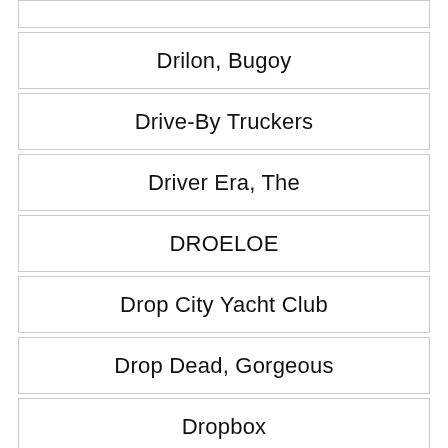Drilon, Bugoy
Drive-By Truckers
Driver Era, The
DROELOE
Drop City Yacht Club
Drop Dead, Gorgeous
Dropbox
Dropkick Murphys
Dropout
Drowners
Drowning Pool